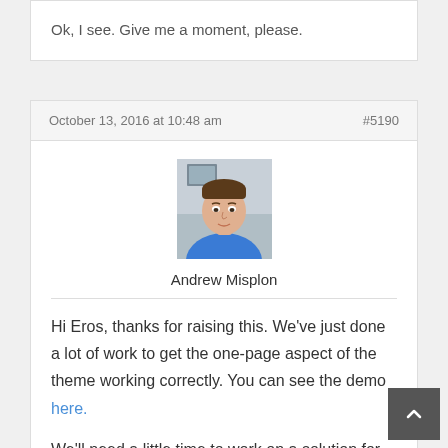Ok, I see. Give me a moment, please.
October 13, 2016 at 10:48 am   #5190
[Figure (photo): Profile photo of Andrew Misplon, a man in a blue hoodie]
Andrew Misplon
Hi Eros, thanks for raising this. We've just done a lot of work to get the one-page aspect of the theme working correctly. You can see the demo here.
We'll need a little time to work on a solution for the scroll to position issue you've raised. I'll reply as soon as I have an update. Thanks again for your